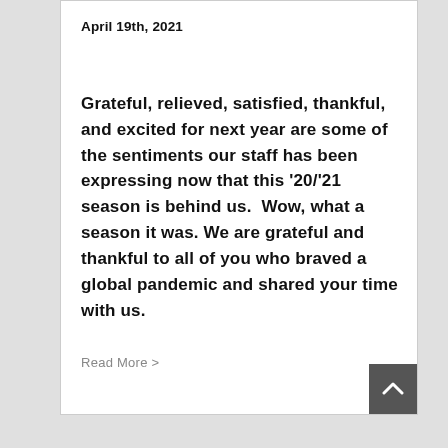April 19th, 2021
Grateful, relieved, satisfied, thankful, and excited for next year are some of the sentiments our staff has been expressing now that this '20/'21 season is behind us.  Wow, what a season it was. We are grateful and thankful to all of you who braved a global pandemic and shared your time with us.
Read More >